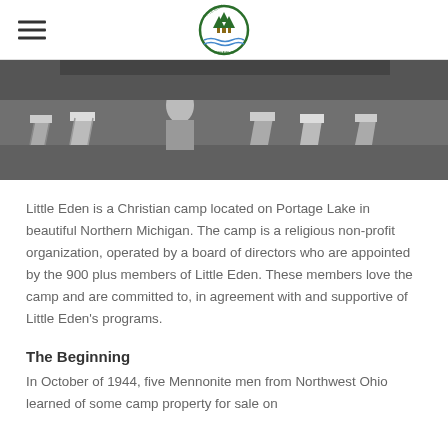Little Eden Camp logo and navigation
[Figure (photo): Black and white photograph of camp chairs and people outdoors]
Little Eden is a Christian camp located on Portage Lake in beautiful Northern Michigan. The camp is a religious non-profit organization, operated by a board of directors who are appointed by the 900 plus members of Little Eden. These members love the camp and are committed to, in agreement with and supportive of Little Eden's programs.
The Beginning
In October of 1944, five Mennonite men from Northwest Ohio learned of some camp property for sale on